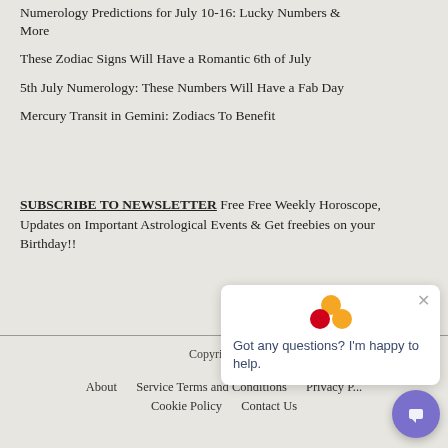Numerology Predictions for July 10-16: Lucky Numbers & More
These Zodiac Signs Will Have a Romantic 6th of July
5th July Numerology: These Numbers Will Have a Fab Day
Mercury Transit in Gemini: Zodiacs To Benefit
SUBSCRIBE TO NEWSLETTER Free Free Weekly Horoscope, Updates on Important Astrological Events & Get freebies on your Birthday!!
[Figure (other): Chat widget popup with three colored circles logo (orange, red, orange) and text: Got any questions? I'm happy to help. With an X close button.]
Copyright © 2
About   Service Terms and Conditions   Privacy P...   Cookie Policy   Contact Us